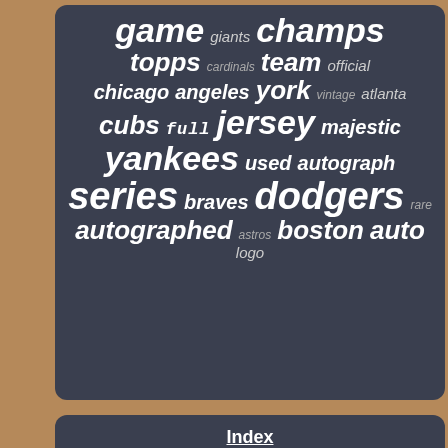[Figure (infographic): Word cloud of baseball-related terms on dark background panel. Words include: game, champs, giants, topps, team, cardinals, official, chicago, angeles, york, vintage, atlanta, cubs, full, jersey, majestic, yankees, used, autograph, series, braves, dodgers, rare, autographed, astros, boston, auto, logo]
Index
Contact
Privacy Policy Agreement
Terms of service